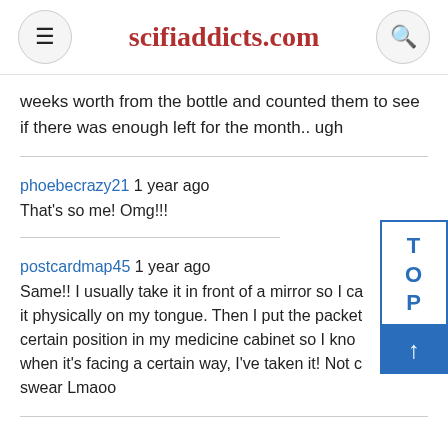scifiaddicts.com
weeks worth from the bottle and counted them to see if there was enough left for the month.. ugh
phoebecrazy21 1 year ago
That's so me! Omg!!!
postcardmap45 1 year ago
Same!! I usually take it in front of a mirror so I ca... it physically on my tongue. Then I put the packet... certain position in my medicine cabinet so I kno... when it's facing a certain way, I've taken it! Not c... swear Lmaoo